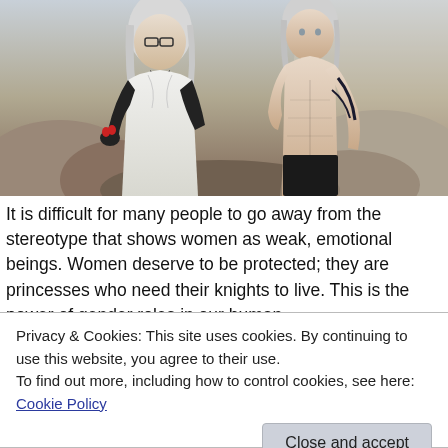[Figure (illustration): Two video game characters standing side by side: a woman with silver hair and glasses wearing a white jacket with black gloves, and a shirtless man with silver hair and decorated arm markings, against a rocky background.]
It is difficult for many people to go away from the stereotype that shows women as weak, emotional beings. Women deserve to be protected; they are princesses who need their knights to live. This is the power of gender roles in our human
Privacy & Cookies: This site uses cookies. By continuing to use this website, you agree to their use.
To find out more, including how to control cookies, see here: Cookie Policy
Close and accept